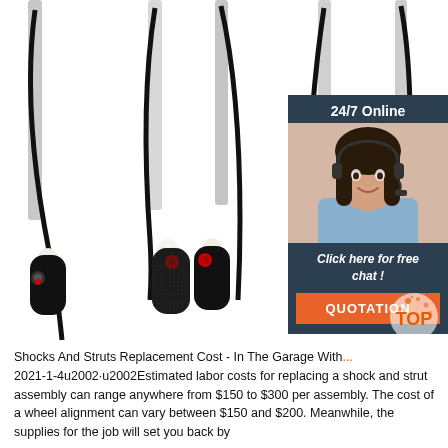[Figure (photo): Multiple automotive shock absorbers / struts with black carbon-fiber bodies, chrome shafts, and red adjustment knobs arranged on white background]
[Figure (infographic): Chat widget with dark blue background showing '24/7 Online' label, photo of female customer service agent with headset, 'Click here for free chat!' text, and orange QUOTATION button]
[Figure (logo): Orange speckled TOP badge/logo in bottom right area]
Shocks And Struts Replacement Cost - In The Garage With... 2021-1-4u2002·u2002Estimated labor costs for replacing a shock and strut assembly can range anywhere from $150 to $300 per assembly. The cost of a wheel alignment can vary between $150 and $200. Meanwhile, the supplies for the job will set you back by